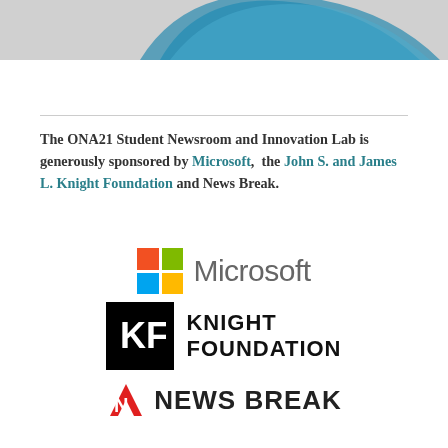[Figure (illustration): Partial view of a blue bird/wing logo on gray background at top of page]
The ONA21 Student Newsroom and Innovation Lab is generously sponsored by Microsoft, the John S. and James L. Knight Foundation and News Break.
[Figure (logo): Microsoft logo with four-color grid and wordmark]
[Figure (logo): Knight Foundation logo: black square with KF lettermark and KNIGHT FOUNDATION text]
[Figure (logo): News Break logo with red N icon and NEWS BREAK wordmark]